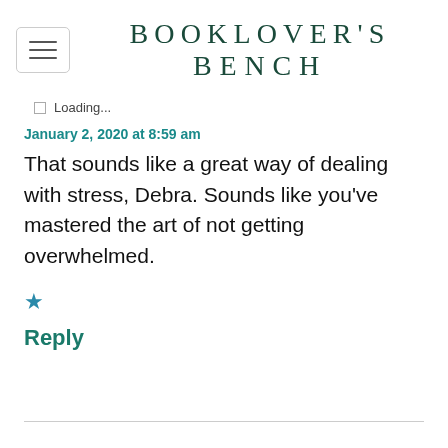BOOKLOVER'S BENCH
Loading...
January 2, 2020 at 8:59 am
That sounds like a great way of dealing with stress, Debra. Sounds like you’ve mastered the art of not getting overwhelmed.
★
Reply